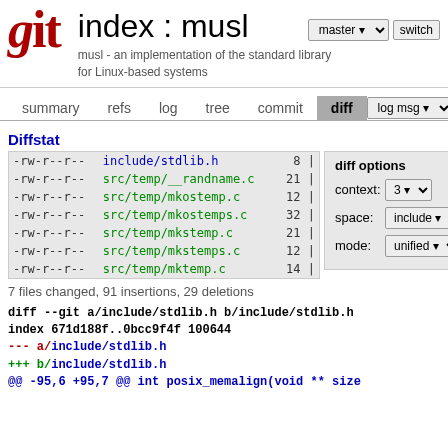[Figure (logo): Git logo in dark red italic serif font]
index : musl
musl - an implementation of the standard library for Linux-based systems
summary   refs   log   tree   commit   diff
Diffstat
| permissions | file | lines |
| --- | --- | --- |
| -rw-r--r-- | include/stdlib.h | 8 |
| -rw-r--r-- | src/temp/__randname.c | 21 |
| -rw-r--r-- | src/temp/mkostemp.c | 12 |
| -rw-r--r-- | src/temp/mkostemps.c | 32 |
| -rw-r--r-- | src/temp/mkstemp.c | 21 |
| -rw-r--r-- | src/temp/mkstemps.c | 12 |
| -rw-r--r-- | src/temp/mktemp.c | 14 |
diff options
context: 3
space: include
mode: unified
7 files changed, 91 insertions, 29 deletions
diff --git a/include/stdlib.h b/include/stdlib.h
index 671d188f..0bcc9f4f 100644
--- a/include/stdlib.h
+++ b/include/stdlib.h
@@ -95,6 +95,7 @@ int posix_memalign(void ** size